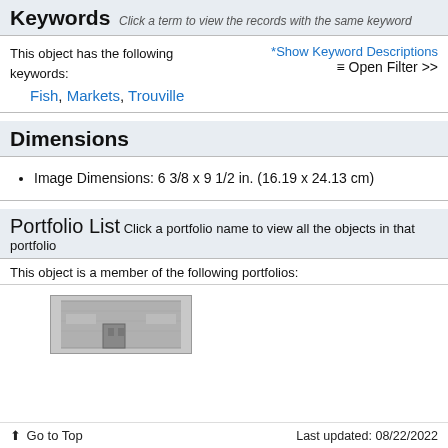Keywords Click a term to view the records with the same keyword
This object has the following keywords:
Fish, Markets, Trouville
*Show Keyword Descriptions
≡ Open Filter >>
Dimensions
Image Dimensions: 6 3/8 x 9 1/2 in. (16.19 x 24.13 cm)
Portfolio List Click a portfolio name to view all the objects in that portfolio
This object is a member of the following portfolios:
[Figure (photo): Thumbnail image of a building entrance, appears to be a museum or institution]
⬆ Go to Top    Last updated: 08/22/2022